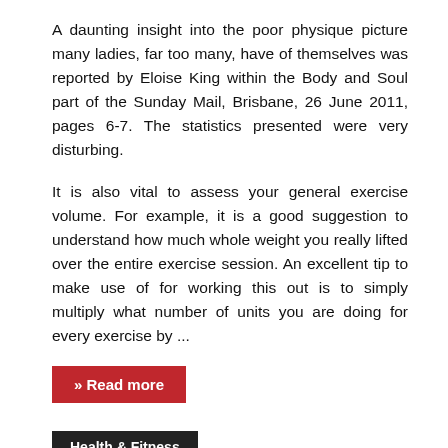A daunting insight into the poor physique picture many ladies, far too many, have of themselves was reported by Eloise King within the Body and Soul part of the Sunday Mail, Brisbane, 26 June 2011, pages 6-7. The statistics presented were very disturbing.
It is also vital to assess your general exercise volume. For example, it is a good suggestion to understand how much whole weight you really lifted over the entire exercise session. An excellent tip to make use of for working this out is to simply multiply what number of units you are doing for every exercise by ...
» Read more
Health & Fitness
Health Brodway Fundamentals Explained
Posted on July 27, 2021 by chandler